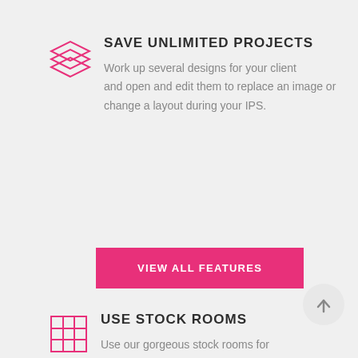[Figure (illustration): Pink outline stacked layers icon]
SAVE UNLIMITED PROJECTS
Work up several designs for your client and open and edit them to replace an image or change a layout during your IPS.
[Figure (other): Pink button labeled VIEW ALL FEATURES]
[Figure (other): Gray circle with upward arrow scroll-to-top button]
[Figure (illustration): Pink outline grid/table icon]
USE STOCK ROOMS
Use our gorgeous stock rooms for